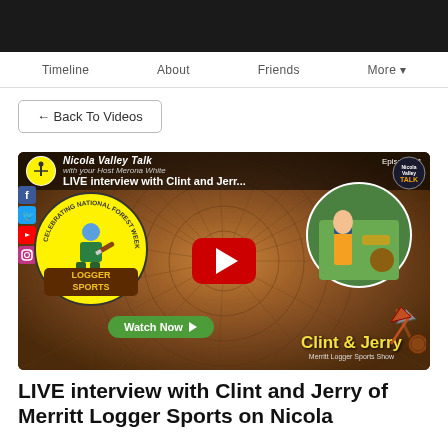Timeline  About  Friends  More
← Back To Videos
[Figure (screenshot): YouTube video thumbnail for 'LIVE interview with Clint and Jerry of Merritt Logger Sports' on Nicola Valley Talk, Episode 51. Features Logger Sports badge, YouTube play button, and Watch Now button. Shows Clint & Jerry text with Merritt Logger Sports Show subtitle.]
LIVE interview with Clint and Jerry of Merritt Logger Sports on Nicola